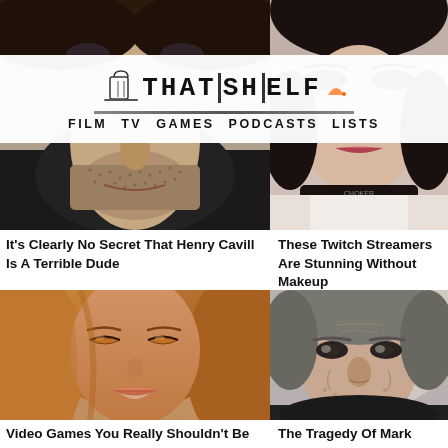[Figure (photo): Man's face, close-up portrait, dark hair]
[Figure (logo): That Shelf logo with navigation: FILM TV GAMES PODCASTS LISTS]
[Figure (photo): Woman's face, close-up with dark eye makeup and choker]
It's Clearly No Secret That Henry Cavill Is A Terrible Dude
These Twitch Streamers Are Stunning Without Makeup
[Figure (illustration): 3D animated female character with brown hair, eyes closed]
[Figure (photo): Middle-aged man with grey hair, slight smile]
Video Games You Really Shouldn't Be Caught Playing By
The Tragedy Of Mark Ruffalo Just Gets Sadder And Sadder